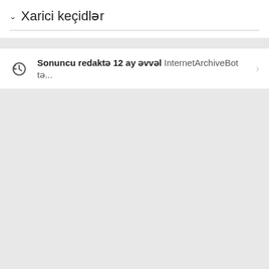Xarici keçidlər
Sonuncu redaktə 12 ay əvvəl InternetArchiveBot tə...